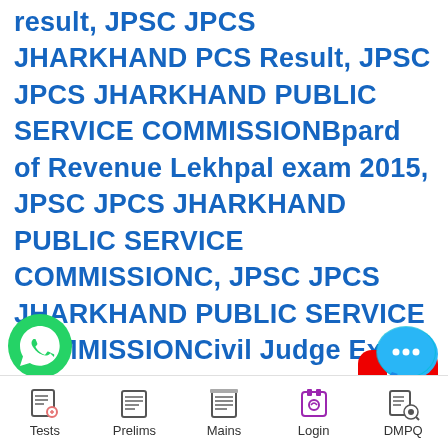result, JPSC JPCS JHARKHAND PCS Result, JPSC JPCS JHARKHAND PUBLIC SERVICE COMMISSIONBpard of Revenue Lekhpal exam 2015, JPSC JPCS JHARKHAND PUBLIC SERVICE COMMISSIONC, JPSC JPCS JHARKHAND PUBLIC SERVICE COMMISSIONCivil Judge Exam 2013, JPSC JPCS JHARKHAND PUBLIC SERVICE COMMISSIONcivil judge exam 2013 result, JPSC JPCS JHARKHAND PUBLIC SERVICE COMMISSIONCivil judge qualified candidates list, JPSC JPCS JHARKHAND PUBLIC SERVICE COMMISSIONEnglish lecturer recruitment di JPSC JPCS JHARKHAND PUBLIC
[Figure (logo): YouTube play button red rectangle icon]
[Figure (logo): WhatsApp green circle phone icon]
[Figure (logo): Blue chat bubble with three dots icon]
Tests   Prelims   Mains   Login   DMPQ